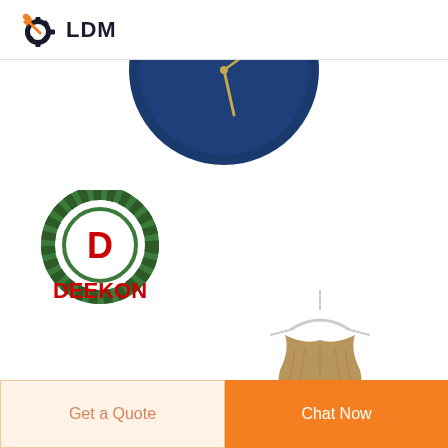[Figure (logo): LDM logo with gear and wrench icon in dark navy and orange, text 'LDM' in dark navy bold font]
[Figure (photo): Partial view of a dark blue round wall clock against a white background]
[Figure (logo): DEEKON logo with circular camouflage pattern containing letter D in red, text 'DEEKON' in bold red below]
[Figure (photo): A tan/beige knitted scarf hanging on a white hanger against white background]
Get a Quote
Chat Now